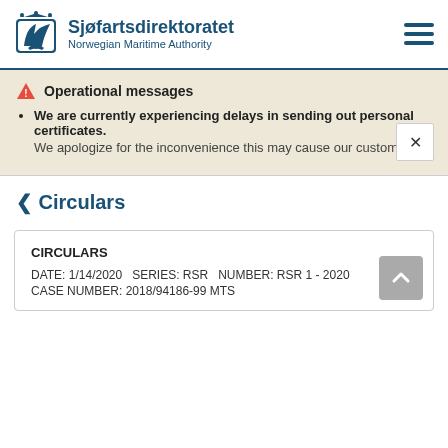Sjøfartsdirektoratet Norwegian Maritime Authority
Operational messages
We are currently experiencing delays in sending out personal certificates. We apologize for the inconvenience this may cause our customers.
< Circulars
| CIRCULARS | DATE | SERIES | NUMBER | CASE NUMBER |
| --- | --- | --- | --- | --- |
| CIRCULARS | DATE: 1/14/2020 | SERIES: RSR | NUMBER: RSR 1 - 2020 | CASE NUMBER: 2018/94186-99 MTS |